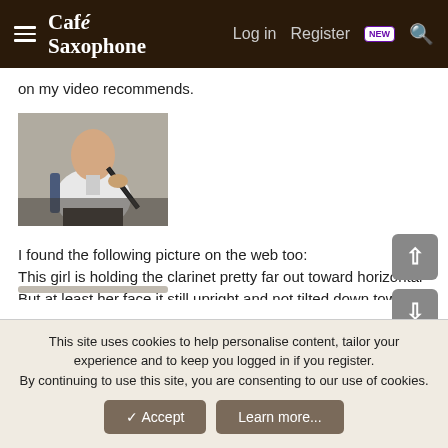Café Saxophone — Log in | Register NEW | Search
on my video recommends.
[Figure (photo): A man in a white shirt playing a clarinet, seated, photographed from slightly to the side against a plain background.]
I found the following picture on the web too:
This girl is holding the clarinet pretty far out toward horizontal But at least her face it still upright and not tilted down toward the clarinet. If she were to tilt her head down a bit she'd basically be playing it horizontally. Her approach here is closer to a sax embouchure.
This site uses cookies to help personalise content, tailor your experience and to keep you logged in if you register.
By continuing to use this site, you are consenting to our use of cookies.